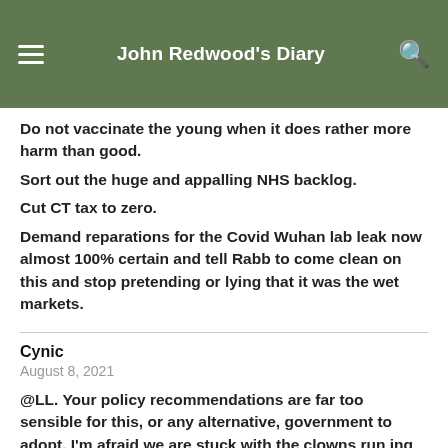John Redwood's Diary
Do not vaccinate the young when it does rather more harm than good.
Sort out the huge and appalling NHS backlog.
Cut CT tax to zero.
Demand reparations for the Covid Wuhan lab leak now almost 100% certain and tell Rabb to come clean on this and stop pretending or lying that it was the wet markets.
Cynic
August 8, 2021
@LL. Your policy recommendations are far too sensible for this, or any alternative, government to adopt. I'm afraid we are stuck with the clowns run ing the circus.